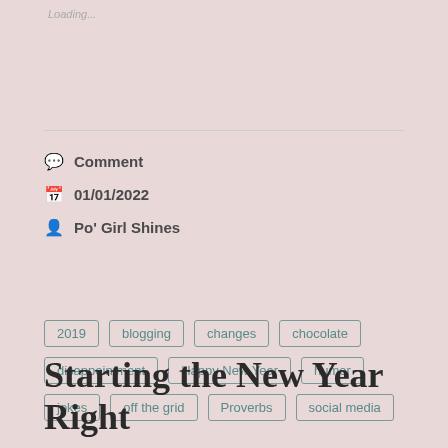Loading...
Comment
01/01/2022
Po' Girl Shines
2019
blogging
changes
chocolate
disappointment
Happy New Year
humor
jokes
off the grid
Proverbs
social media
Starting the New Year Right